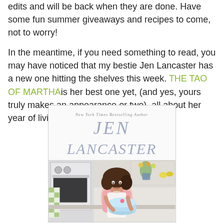edits and will be back when they are done.  Have some fun summer giveaways and recipes to come, not to worry!
In the meantime, if you need something to read, you may have noticed that my bestie Jen Lancaster has a new one hitting the shelves this week.  THE TAO OF MARTHA is her best one yet, (and yes, yours truly makes an appearance or two), all about her year of living by Martha Stewarts dictates.
[Figure (photo): Book cover of 'The Tao of Martha' by Jen Lancaster. Shows 'New York Times Bestselling Author' at top, large text 'JEN LANCASTER', a woman in a pink top and white apron decorating a blue cake in a kitchen setting.]